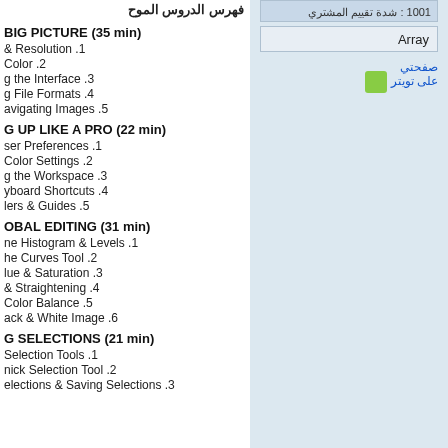فهرس الدروس الموح
BIG PICTURE (35 min)
& Resolution .1
Color .2
g the Interface .3
g File Formats .4
avigating Images .5
G UP LIKE A PRO (22 min)
ser Preferences .1
Color Settings .2
g the Workspace .3
yboard Shortcuts .4
lers & Guides .5
OBAL EDITING (31 min)
ne Histogram & Levels .1
he Curves Tool .2
lue & Saturation .3
& Straightening .4
Color Balance .5
ack & White Image .6
G SELECTIONS (21 min)
Selection Tools .1
nick Selection Tool .2
elections & Saving Selections .3
Array
صفحتي على تويتر